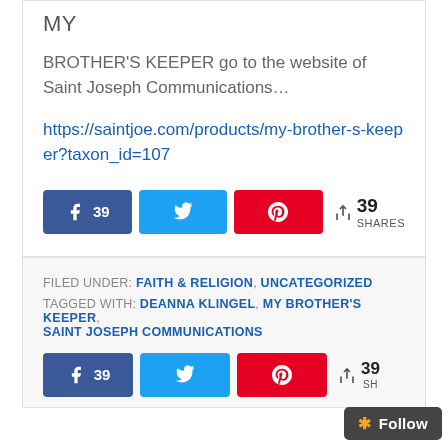MY
BROTHER'S KEEPER go to the website of Saint Joseph Communications…
https://saintjoe.com/products/my-brother-s-keeper?taxon_id=107
39 SHARES (share buttons: Facebook 39, Twitter, Pinterest)
FILED UNDER: FAITH & RELIGION, UNCATEGORIZED
TAGGED WITH: DEANNA KLINGEL, MY BROTHER'S KEEPER, SAINT JOSEPH COMMUNICATIONS
39 SH (share buttons: Facebook 39, Twitter, Pinterest) | Follow